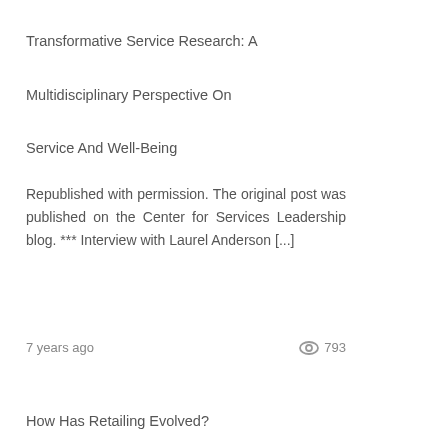Transformative Service Research: A Multidisciplinary Perspective On Service And Well-Being
Republished with permission. The original post was published on the Center for Services Leadership blog. *** Interview with Laurel Anderson [...]
7 years ago   793
How Has Retailing Evolved?